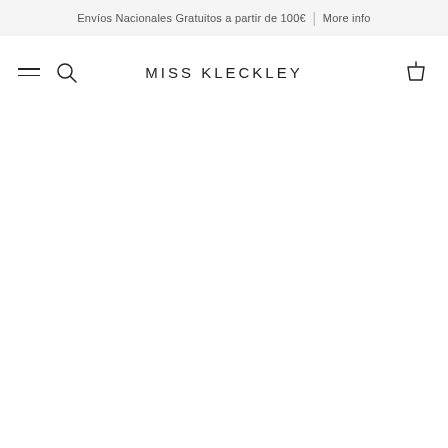Envíos Nacionales Gratuitos a partir de 100€ | More info
[Figure (logo): Miss Kleckley brand logo with hamburger menu icon, search icon, and shopping cart icon in navigation bar]
MISS KLECKLEY